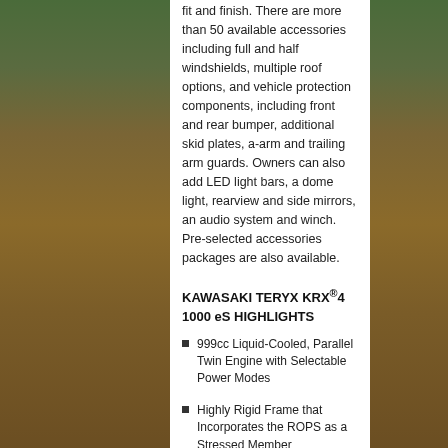fit and finish. There are more than 50 available accessories including full and half windshields, multiple roof options, and vehicle protection components, including front and rear bumper, additional skid plates, a-arm and trailing arm guards. Owners can also add LED light bars, a dome light, rearview and side mirrors, an audio system and winch.  Pre-selected accessories packages are also available.
KAWASAKI TERYX KRX®4 1000 eS HIGHLIGHTS
999cc Liquid-Cooled, Parallel Twin Engine with Selectable Power Modes
Highly Rigid Frame that Incorporates the ROPS as a Stressed Member
18-Inches of Front Wheel Travel and 21-Inches of Rear Wheel Travel
FOX 2.5 Live Valve Internal Bypass Shocks